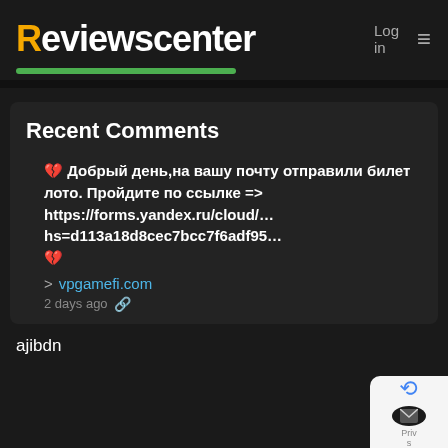Reviewscenter
Log in
Recent Comments
💔 Добрый день,на вашу почту отправили билет лото. Пройдите по ссылке => https://forms.yandex.ru/cloud/…hs=d113a18d8cec7bcc7f6adf95… 💔
> vpgamefi.com
2 days ago 🔗
ajibdn